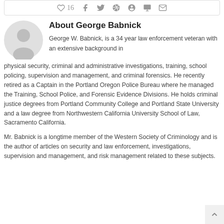[Figure (other): Social share bar with heart/like count of 16, Facebook, Twitter, Google+, Pinterest, LinkedIn, and email icons]
About George Babnick
George W. Babnick, is a 34 year law enforcement veteran with an extensive background in physical security, criminal and administrative investigations, training, school policing, supervision and management, and criminal forensics. He recently retired as a Captain in the Portland Oregon Police Bureau where he managed the Training, School Police, and Forensic Evidence Divisions. He holds criminal justice degrees from Portland Community College and Portland State University and a law degree from Northwestern California University School of Law, Sacramento California.
Mr. Babnick is a longtime member of the Western Society of Criminology and is the author of articles on security and law enforcement, investigations, supervision and management, and risk management related to these subjects.